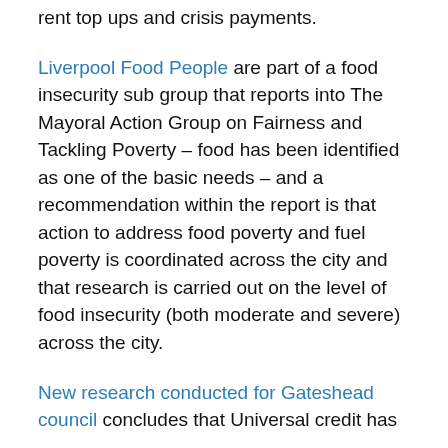rent top ups and crisis payments.
Liverpool Food People are part of a food insecurity sub group that reports into The Mayoral Action Group on Fairness and Tackling Poverty – food has been identified as one of the basic needs – and a recommendation within the report is that action to address food poverty and fuel poverty is coordinated across the city and that research is carried out on the level of food insecurity (both moderate and severe) across the city.
New research conducted for Gateshead council concludes that Universal credit has